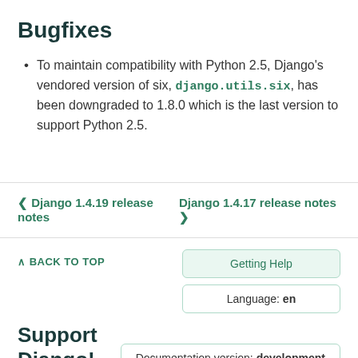Bugfixes
To maintain compatibility with Python 2.5, Django's vendored version of six, django.utils.six, has been downgraded to 1.8.0 which is the last version to support Python 2.5.
❮ Django 1.4.19 release notes
Django 1.4.17 release notes ❯
∧ BACK TO TOP
Getting Help
Language: en
Support Django!
Documentation version: development